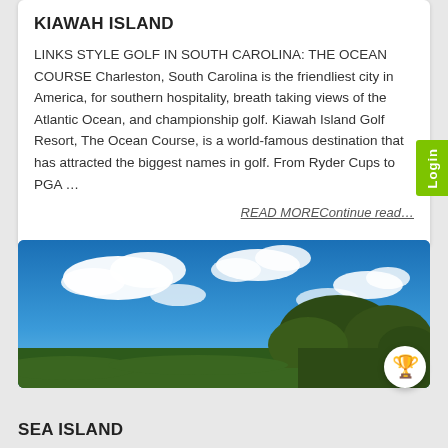KIAWAH ISLAND
LINKS STYLE GOLF IN SOUTH CAROLINA: THE OCEAN COURSE Charleston, South Carolina is the friendliest city in America, for southern hospitality, breath taking views of the Atlantic Ocean, and championship golf. Kiawah Island Golf Resort, The Ocean Course, is a world-famous destination that has attracted the biggest names in golf. From Ryder Cups to PGA …
READ MOREContinue read…
[Figure (photo): Wide-angle outdoor photo showing a bright blue sky with white clouds and trees/vegetation on the horizon, characteristic of a coastal landscape at Kiawah Island or similar golf resort setting.]
SEA ISLAND